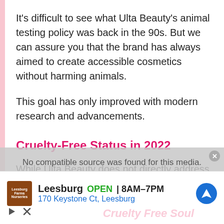It's difficult to see what Ulta Beauty's animal testing policy was back in the 90s. But we can assure you that the brand has always aimed to create accessible cosmetics without harming animals.
This goal has only improved with modern research and advancements.
Cruelty-Free Status in 2022
While Ulta Beauty does not directly address its animal testing policy, the
[Figure (screenshot): Ad overlay showing 'No compatible source was found for this media.' with an X close button, and a Google Maps style advertisement for a Leesburg location showing OPEN 8AM-7PM, 170 Keystone Ct, Leesburg, with navigation icon. Below shows a Cruelty Free Soul watermark. Play and close controls visible.]